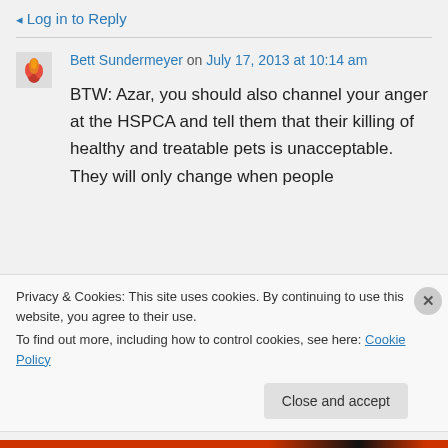Log in to Reply
Bett Sundermeyer on July 17, 2013 at 10:14 am
BTW: Azar, you should also channel your anger at the HSPCA and tell them that their killing of healthy and treatable pets is unacceptable. They will only change when people
Privacy & Cookies: This site uses cookies. By continuing to use this website, you agree to their use.
To find out more, including how to control cookies, see here: Cookie Policy
Close and accept